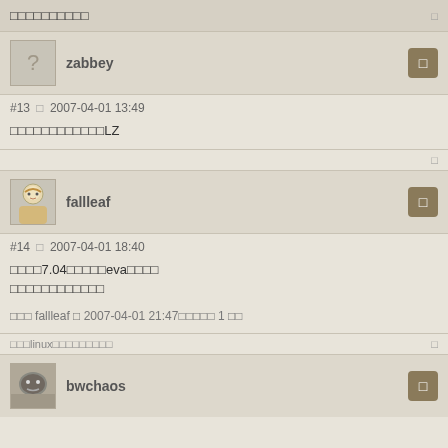□□□□□□□□□□
zabbey
#13  □  2007-04-01 13:49
□□□□□□□□□□□□LZ
fallleaf
#14  □  2007-04-01 18:40
□□□□7.04□□□□□eva□□□□
□□□□□□□□□□□□
□□□ fallleaf □ 2007-04-01 21:47□□□□□ 1 □□
□□□linux□□□□□□□□□
bwchaos